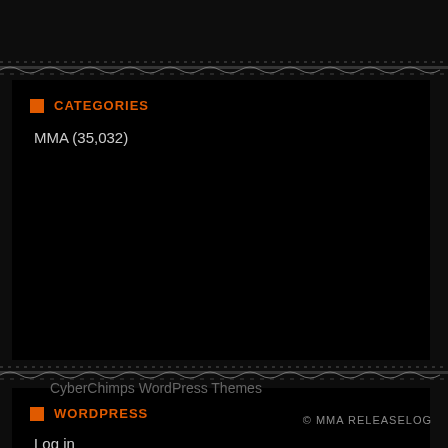CATEGORIES
MMA (35,032)
WORDPRESS
Log in
WordPress
CyberChimps WordPress Themes
© MMA RELEASELOG